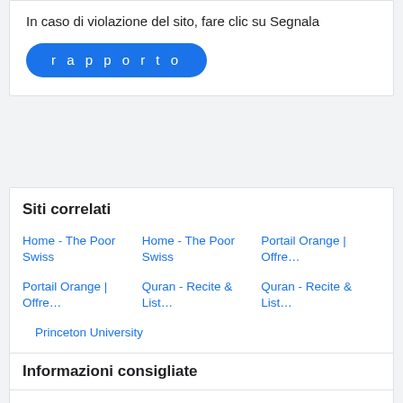In caso di violazione del sito, fare clic su Segnala
[Figure (other): Blue rounded button with white text 'r a p p o r t o']
Siti correlati
Home - The Poor Swiss
Home - The Poor Swiss
Portail Orange | Offre…
Portail Orange | Offre…
Quran - Recite & List…
Quran - Recite & List…
Princeton University
Informazioni consigliate
Sito consigliato
Power transformer price: 1000KVA, 33kV, 25kV, power…